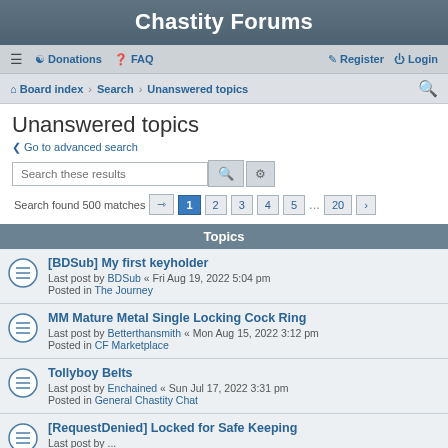Chastity Forums
Donations | FAQ | Register | Login
Board index > Search > Unanswered topics
Unanswered topics
< Go to advanced search
Search these results
Search found 500 matches | Page 1 2 3 4 5 ... 20 >
Topics
[BDSub] My first keyholder
Last post by BDSub « Fri Aug 19, 2022 5:04 pm
Posted in The Journey
MM Mature Metal Single Locking Cock Ring
Last post by Betterthansmith « Mon Aug 15, 2022 3:12 pm
Posted in CF Marketplace
Tollyboy Belts
Last post by Enchained « Sun Jul 17, 2022 3:31 pm
Posted in General Chastity Chat
[RequestDenied] Locked for Safe Keeping
Last post by ...